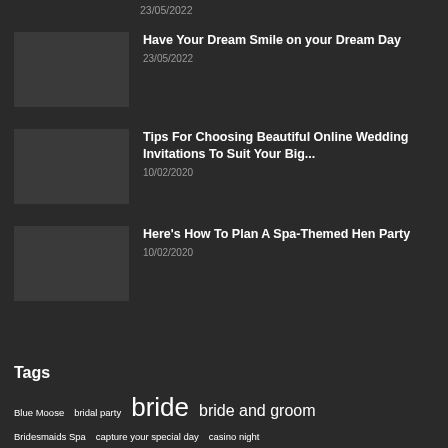23/05/2022
Have Your Dream Smile on your Dream Day
23/05/2022
Tips For Choosing Beautiful Online Wedding Invitations To Suit Your Big...
10/02/2020
Here's How To Plan A Spa-Themed Hen Party
10/02/2020
Tags
Blue Moose
bridal party
bride
bride and groom
Bridesmaids Spa
capture your special day
casino night